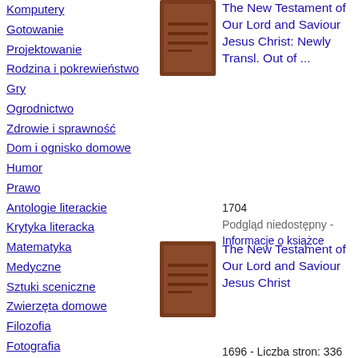Komputery
Gotowanie
Projektowanie
Rodzina i pokrewieństwo
Gry
Ogrodnictwo
Zdrowie i sprawność
Dom i ognisko domowe
Humor
Prawo
Antologie literackie
Krytyka literacka
Matematyka
Medyczne
Sztuki sceniczne
Zwierzęta domowe
Filozofia
Fotografia
Poezja
Politologia
Psychologia
Religia
Samorozwój
[Figure (illustration): Brown book cover with horizontal lines, no visible title]
The New Testament of Our Lord and Saviour Jesus Christ: Newly Transl. Out of ...
1704
Podgląd niedostępny - Informacje o książce
[Figure (illustration): Brown book cover with horizontal lines, no visible title]
The New Testament of Our Lord and Saviour Jesus Christ
1696 - Liczba stron: 336